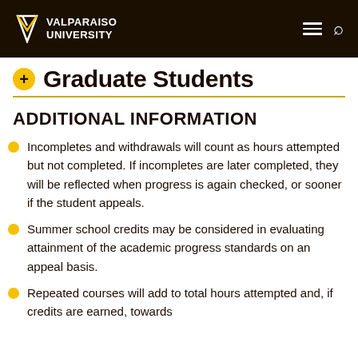Valparaiso University
Graduate Students
ADDITIONAL INFORMATION
Incompletes and withdrawals will count as hours attempted but not completed. If incompletes are later completed, they will be reflected when progress is again checked, or sooner if the student appeals.
Summer school credits may be considered in evaluating attainment of the academic progress standards on an appeal basis.
Repeated courses will add to total hours attempted and, if credits are earned, towards